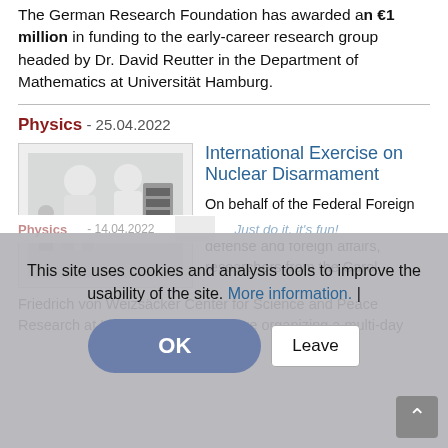The German Research Foundation has awarded an €1 million in funding to the early-career research group headed by Dr. David Reutter in the Department of Mathematics at Universität Hamburg.
Physics - 25.04.2022
[Figure (photo): Two researchers in white protective suits and gloves working with scientific equipment in a laboratory]
International Exercise on Nuclear Disarmament
On behalf of the Federal Foreign Office and the French ministry of defense and foreign affairs, researchers from the Carol Friedrich von Weizsäcker Center for Science and Peace Research at Universität Hamburg are organizing a multi-day e...
Physics - 14.04.2022
Just do it, it's fun!
This site uses cookies and analysis tools to improve the usability of the site. More information. |